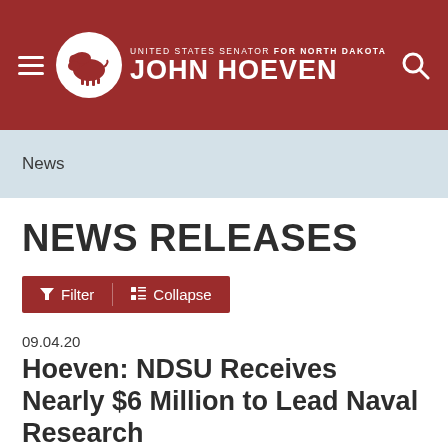UNITED STATES SENATOR FOR NORTH DAKOTA JOHN HOEVEN
News
NEWS RELEASES
Filter   Collapse
09.04.20
Hoeven: NDSU Receives Nearly $6 Million to Lead Naval Research